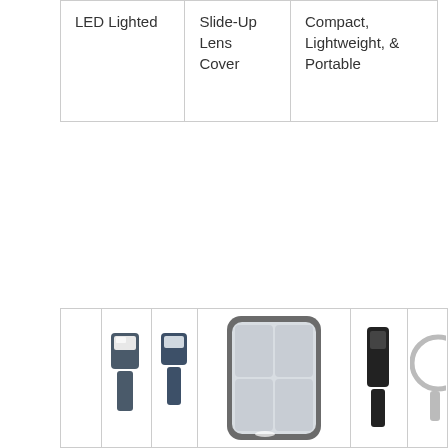| LED Lighted | Slide-Up Lens Cover | Compact, Lightweight, & Portable |
| [image: small magnifier 1] | [image: small magnifier 2] | [image: large magnifier with LEDs] | [image: dark magnifier] | [image: circular magnifier partial] |
| PO-55 | PO-25 | PM-33 | LP-66 | SC-1... |